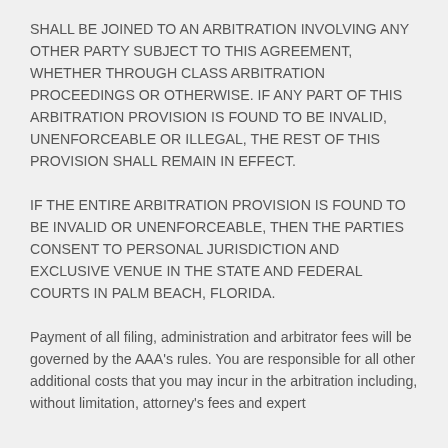SHALL BE JOINED TO AN ARBITRATION INVOLVING ANY OTHER PARTY SUBJECT TO THIS AGREEMENT, WHETHER THROUGH CLASS ARBITRATION PROCEEDINGS OR OTHERWISE. IF ANY PART OF THIS ARBITRATION PROVISION IS FOUND TO BE INVALID, UNENFORCEABLE OR ILLEGAL, THE REST OF THIS PROVISION SHALL REMAIN IN EFFECT.
IF THE ENTIRE ARBITRATION PROVISION IS FOUND TO BE INVALID OR UNENFORCEABLE, THEN THE PARTIES CONSENT TO PERSONAL JURISDICTION AND EXCLUSIVE VENUE IN THE STATE AND FEDERAL COURTS IN PALM BEACH, FLORIDA.
Payment of all filing, administration and arbitrator fees will be governed by the AAA's rules. You are responsible for all other additional costs that you may incur in the arbitration including, without limitation, attorney's fees and expert